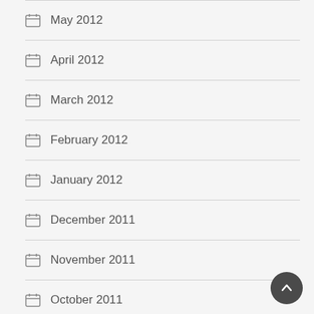May 2012
April 2012
March 2012
February 2012
January 2012
December 2011
November 2011
October 2011
August 2011
July 2011
June 2011